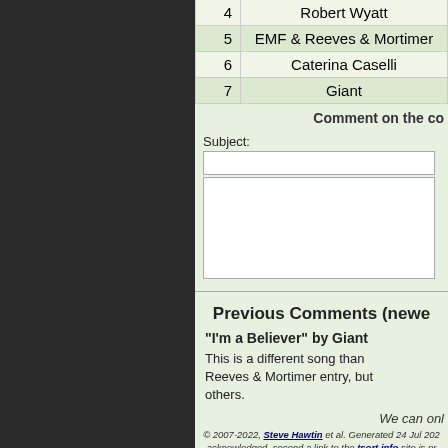| # | Artist |
| --- | --- |
| 4 | Robert Wyatt |
| 5 | EMF & Reeves & Mortimer |
| 6 | Caterina Caselli |
| 7 | Giant |
Comment on the co
Subject:
Previous Comments (newe
"I'm a Believer" by Giant
This is a different song than Reeves & Mortimer entry, but others.
We can onl
© 2007-2022, Steve Hawtin et al. Generated 24 Jul 202 acknowledged, second a link to the tsort.info site is pr 2.8.0046). If you cannot, or do not wish to, follow th